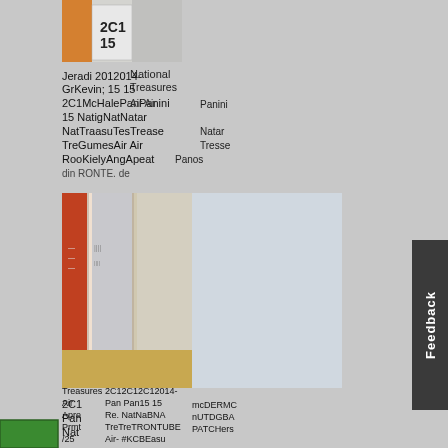[Figure (photo): Collaged screenshot showing overlapping text and images from what appears to be a trading card or collectibles website listing. Multiple overlapping text layers with dates like 2012, 2014-15, names like Panini, National Treasures, Air, and various other card-related text. Two photographic images are also visible - one at the top showing some items and one in the middle showing what appears to be card storage or binder.]
[Figure (other): Feedback tab button on the right side, dark gray/charcoal colored with white vertical text reading 'Feedback']